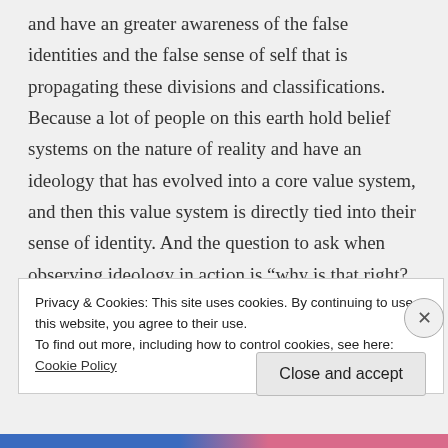and have an greater awareness of the false identities and the false sense of self that is propagating these divisions and classifications. Because a lot of people on this earth hold belief systems on the nature of reality and have an ideology that has evolved into a core value system, and then this value system is directly tied into their sense of identity. And the question to ask when observing ideology in action is “why is that right? who are you? who are you representing really?” and
Privacy & Cookies: This site uses cookies. By continuing to use this website, you agree to their use.
To find out more, including how to control cookies, see here: Cookie Policy
Close and accept